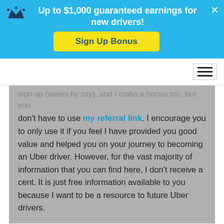[Figure (infographic): Blue banner with crown icon, bold white text 'Up to $1,000 guaranteed earnings for new drivers!' and a yellow 'Sign Up Bonus' button, with an X close button.]
[Figure (other): Navigation bar with hamburger menu icon on the right.]
sign up (varies by city), and I make a bonus too. But you don't have to use my referral link. I encourage you to only use it if you feel I have provided you good value and helped you on your journey to becoming an Uber driver. However, for the vast majority of information that you can find here, I don't receive a cent. It is just free information available to you because I want to be a resource to future Uber drivers.
SEARCH